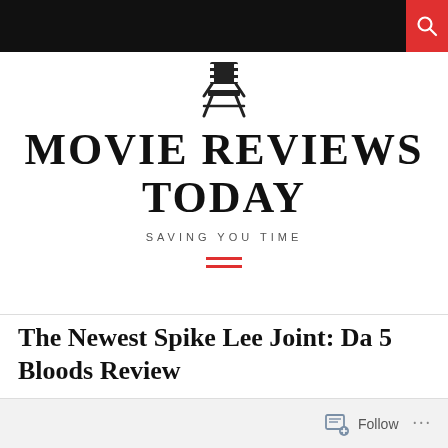MOVIE REVIEWS TODAY
MOVIE REVIEWS TODAY
SAVING YOU TIME
The Newest Spike Lee Joint: Da 5 Bloods Review
BY TEDDY FREDERICK  |  JULY 2, 2020